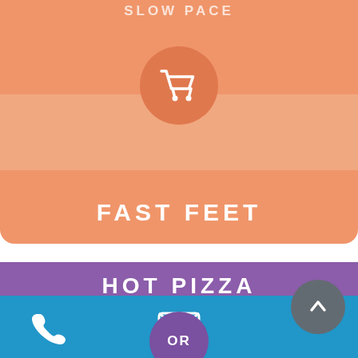SLOW PACE
[Figure (illustration): Orange rounded card with shopping cart icon and 'FAST FEET' label]
[Figure (illustration): Purple card with 'HOT PIZZA' text, 'OR' circle button, and 'COLD FISH' text]
[Figure (illustration): Blue footer bar with phone icon, email icon, and gray up-arrow circle button]